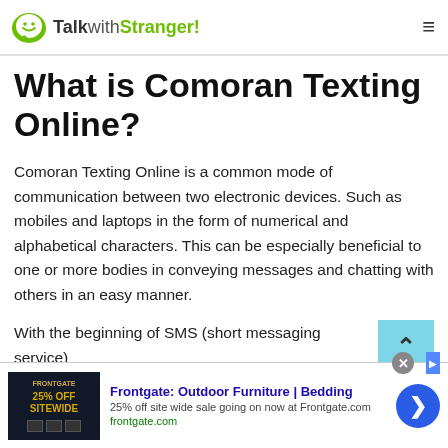TalkwithStranger!
What is Comoran Texting Online?
Comoran Texting Online is a common mode of communication between two electronic devices. Such as mobiles and laptops in the form of numerical and alphabetical characters. This can be especially beneficial to one or more bodies in conveying messages and chatting with others in an easy manner.
With the beginning of SMS (short messaging service)
[Figure (other): Advertisement banner for Frontgate: Outdoor Furniture | Bedding — 25% off site wide sale going on now at Frontgate.com. Shows ad image with '25% OFF SITEWIDE' text, ad title, description, URL frontgate.com, and a blue circular CTA button with arrow.]